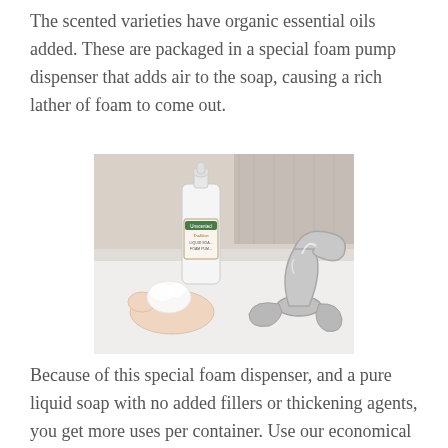The scented varieties have organic essential oils added. These are packaged in a special foam pump dispenser that adds air to the soap, causing a rich lather of foam to come out.
[Figure (photo): A hand holding a foam soap dispenser bottle labeled 'Unscented Tradition Liquid Soap Foam Pump' next to a chrome bathroom faucet on a white sink. Foam is dispensed into the open palm.]
Because of this special foam dispenser, and a pure liquid soap with no added fillers or thickening agents, you get more uses per container. Use our economical 32 oz. refill sizes to refill your pump